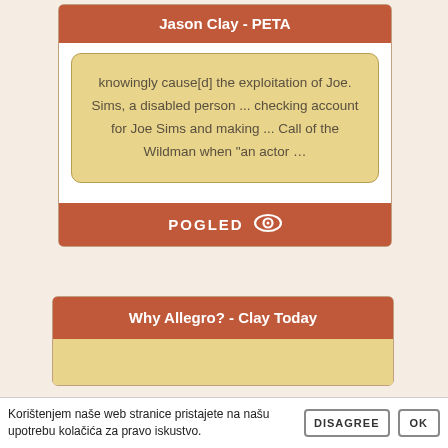Jason Clay - PETA
knowingly cause[d] the exploitation of Joe. Sims, a disabled person ... checking account for Joe Sims and making ... Call of the Wildman when "an actor …
POGLED
Why Allegro? - Clay Today
Korištenjem naše web stranice pristajete na našu upotrebu kolačića za pravo iskustvo.